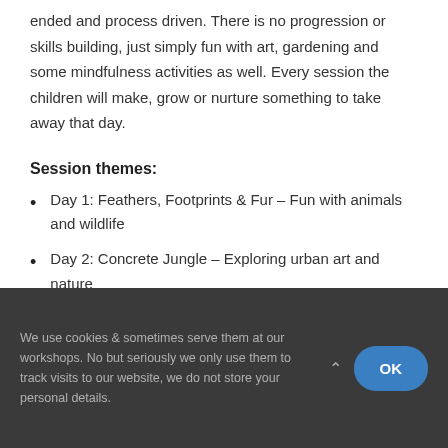ended and process driven. There is no progression or skills building, just simply fun with art, gardening and some mindfulness activities as well. Every session the children will make, grow or nurture something to take away that day.
Session themes:
Day 1: Feathers, Footprints & Fur – Fun with animals and wildlife
Day 2: Concrete Jungle – Exploring urban art and nature
We use cookies & sometimes serve them at our workshops. No but seriously we only use them to track visits to our website, we do not store your personal details.